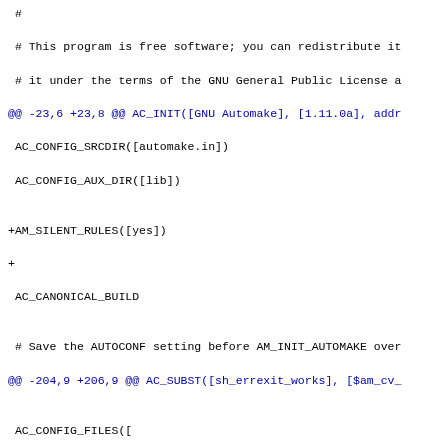# 
 # This program is free software; you can redistribute it
 # it under the terms of the GNU General Public License a
@@ -23,6 +23,8 @@ AC_INIT([GNU Automake], [1.11.0a], addr
 AC_CONFIG_SRCDIR([automake.in])
 AC_CONFIG_AUX_DIR([lib])

+AM_SILENT_RULES([yes])
+
 AC_CANONICAL_BUILD

 # Save the AUTOCONF setting before AM_INIT_AUTOMAKE over
@@ -204,9 +206,9 @@ AC_SUBST([sh_errexit_works], [$am_cv_

 AC_CONFIG_FILES([
    Makefile
+   contrib/Makefile
    doc/Makefile
    lib/Automake/Makefile
-   lib/Automake/tests/Makefile
    lib/Makefile
    lib/am/Makefile
    m4/Makefile
diff --git a/tests/nodepcomp.test b/contrib/Makefile.am
old mode 100755
new mode 100644
similarity index 74%
copy from tests/nodepcomp.test
copy to contrib/Makefile.am
index 735c363..820b547